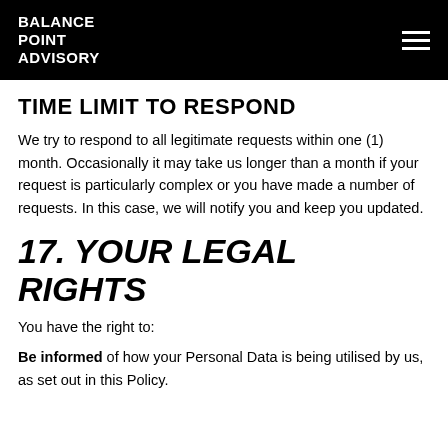BALANCE POINT ADVISORY
TIME LIMIT TO RESPOND
We try to respond to all legitimate requests within one (1) month. Occasionally it may take us longer than a month if your request is particularly complex or you have made a number of requests. In this case, we will notify you and keep you updated.
17. YOUR LEGAL RIGHTS
You have the right to:
Be informed of how your Personal Data is being utilised by us, as set out in this Policy.